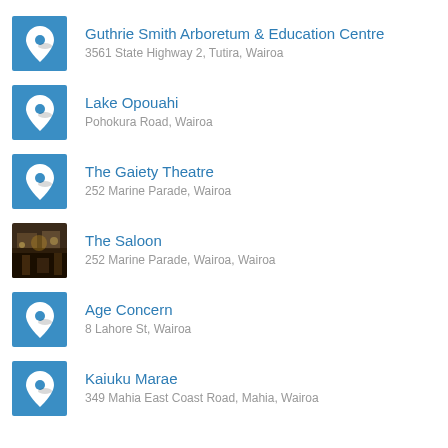Guthrie Smith Arboretum & Education Centre
3561 State Highway 2, Tutira, Wairoa
Lake Opouahi
Pohokura Road, Wairoa
The Gaiety Theatre
252 Marine Parade, Wairoa
The Saloon
252 Marine Parade, Wairoa, Wairoa
Age Concern
8 Lahore St, Wairoa
Kaiuku Marae
349 Mahia East Coast Road, Mahia, Wairoa